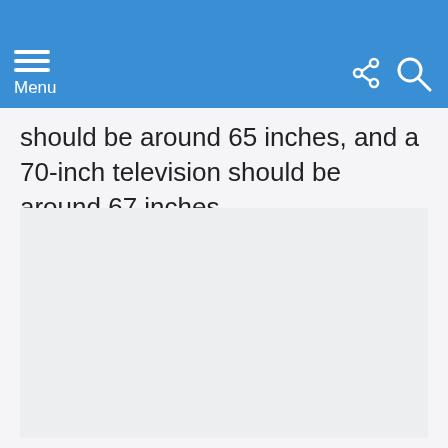Menu
should be around 65 inches, and a 70-inch television should be around 67 inches.
[Figure (other): Empty light gray image placeholder area]